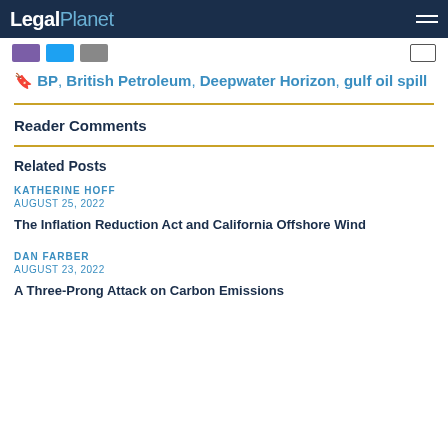Legal Planet
BP, British Petroleum, Deepwater Horizon, gulf oil spill
Reader Comments
Related Posts
KATHERINE HOFF
AUGUST 25, 2022
The Inflation Reduction Act and California Offshore Wind
DAN FARBER
AUGUST 23, 2022
A Three-Prong Attack on Carbon Emissions